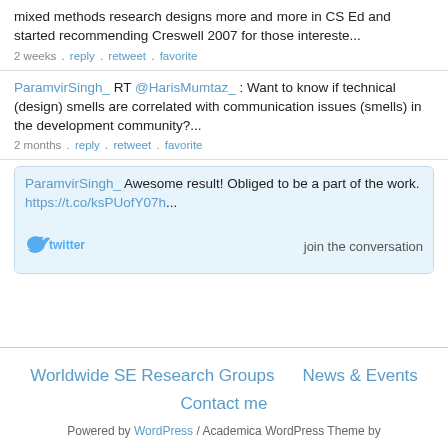mixed methods research designs more and more in CS Ed and started recommending Creswell 2007 for those intereste...
2 weeks . reply . retweet . favorite
ParamvirSingh_ RT @HarisMumtaz_ : Want to know if technical (design) smells are correlated with communication issues (smells) in the development community?...
2 months . reply . retweet . favorite
ParamvirSingh_ Awesome result! Obliged to be a part of the work. https://t.co/ksPUofY07h...
[Figure (logo): Twitter bird logo in blue]
join the conversation
Worldwide SE Research Groups
News & Events
Contact me
Powered by WordPress / Academica WordPress Theme by